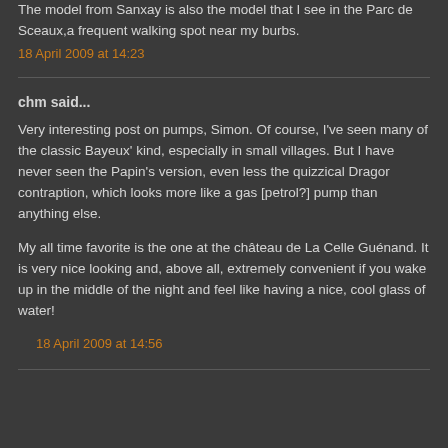The model from Sanxay is also the model that I see in the Parc de Sceaux,a frequent walking spot near my burbs.
18 April 2009 at 14:23
chm said...
Very interesting post on pumps, Simon. Of course, I've seen many of the classic Bayeux' kind, especially in small villages. But I have never seen the Papin's version, even less the quizzical Dragor contraption, which looks more like a gas [petrol?] pump than anything else.
My all time favorite is the one at the château de La Celle Guénand. It is very nice looking and, above all, extremely convenient if you wake up in the middle of the night and feel like having a nice, cool glass of water!
18 April 2009 at 14:56